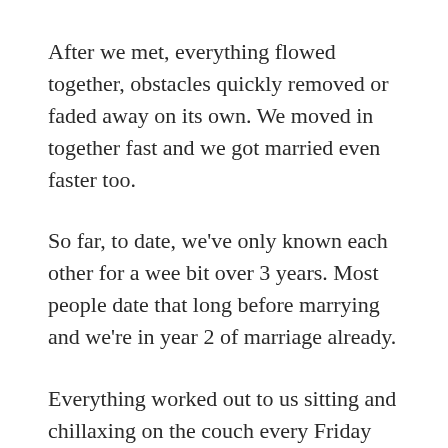After we met, everything flowed together, obstacles quickly removed or faded away on its own. We moved in together fast and we got married even faster too.
So far, to date, we've only known each other for a wee bit over 3 years. Most people date that long before marrying and we're in year 2 of marriage already.
Everything worked out to us sitting and chillaxing on the couch every Friday night. Easy peasy.
Chalk it up to the randomness of the universe.